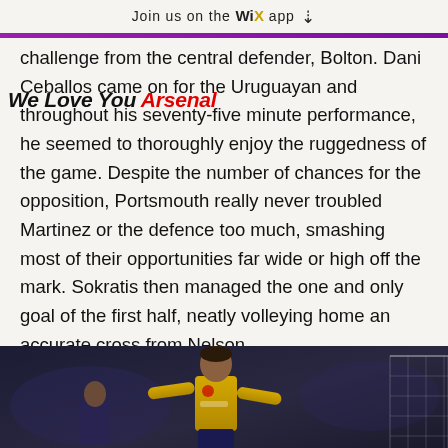Join us on the WiX app ↓
challenge from the central defender, Bolton. Dani Ceballos came on for the Uruguayan and throughout his seventy-five minute performance, he seemed to thoroughly enjoy the ruggedness of the game. Despite the number of chances for the opposition, Portsmouth really never troubled Martinez or the defence too much, smashing most of their opportunities far wide or high off the mark. Sokratis then managed the one and only goal of the first half, neatly volleying home an accurate cross from Nelson.
We Love You Arsenal
[Figure (photo): Arsenal player in yellow kit on a dark stadium background]